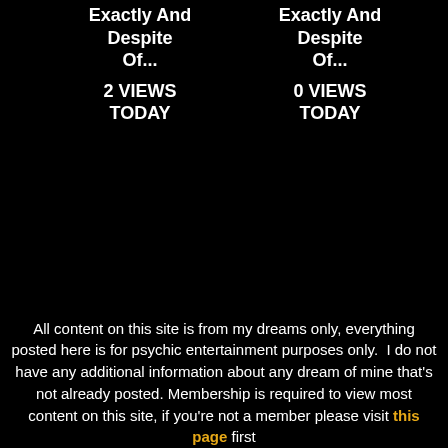Exactly And Despite Of...
Exactly And Despite Of...
2 VIEWS TODAY
0 VIEWS TODAY
All content on this site is from my dreams only, everything posted here is for psychic entertainment purposes only.  I do not have any additional information about any dream of mine that's not already posted. Membership is required to view most content on this site, if you're not a member please visit this page first